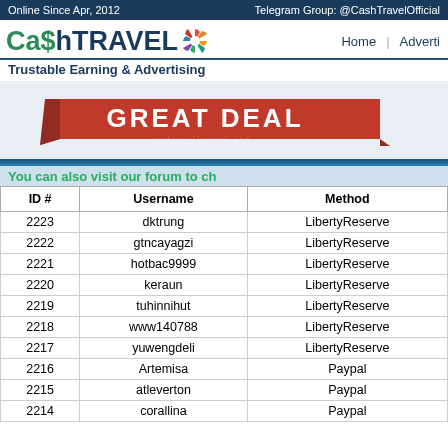Online Since Apr, 2012   Telegram Group: @CashTravelOfficial
[Figure (logo): CashTravel logo with colorful pinwheel icon]
Trustable Earning & Advertising
[Figure (infographic): Red banner with white bold text: GREAT DEAL]
You can also visit our forum to ch
| ID # | Username | Method |
| --- | --- | --- |
| 2223 | dktrung | LibertyReserve |
| 2222 | gtncayagzi | LibertyReserve |
| 2221 | hotbac9999 | LibertyReserve |
| 2220 | keraun | LibertyReserve |
| 2219 | tuhinnihut | LibertyReserve |
| 2218 | www140788 | LibertyReserve |
| 2217 | yuwengdeli | LibertyReserve |
| 2216 | Artemisa | Paypal |
| 2215 | atleverton | Paypal |
| 2214 | corallina | Paypal |